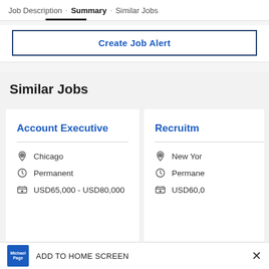Job Description · Summary · Similar Jobs
Create Job Alert
Similar Jobs
Account Executive
Chicago
Permanent
USD65,000 - USD80,000
Recruitm...
New Yor...
Permane...
USD60,0...
ADD TO HOME SCREEN